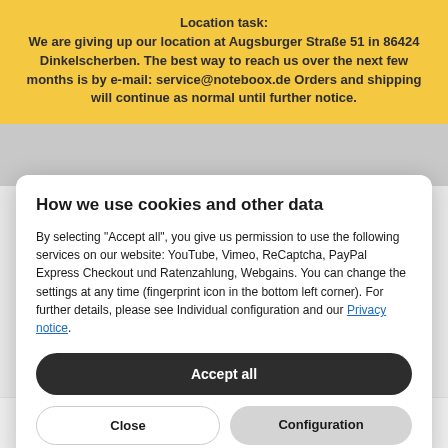Location task: We are giving up our location at Augsburger Straße 51 in 86424 Dinkelscherben. The best way to reach us over the next few months is by e-mail: service@noteboox.de Orders and shipping will continue as normal until further notice.
How we use cookies and other data
By selecting "Accept all", you give us permission to use the following services on our website: YouTube, Vimeo, ReCaptcha, PayPal Express Checkout und Ratenzahlung, Webgains. You can change the settings at any time (fingerprint icon in the bottom left corner). For further details, please see Individual configuration and our Privacy notice.
Accept all
Close
Configuration
by ranking